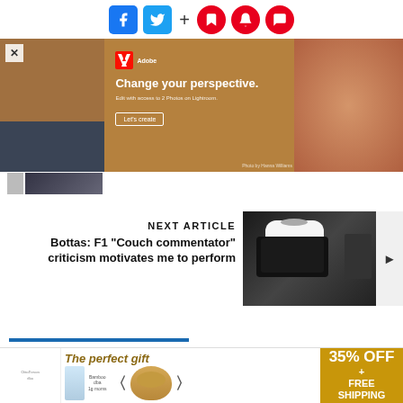[Figure (screenshot): Social media share buttons: Facebook (blue), Twitter (cyan), plus sign, and three red circular icons for bookmark, notification bell, and comment/chat]
[Figure (photo): Adobe advertisement banner with tan/brown background showing a woman in orange pants. Text reads: 'Change your perspective. Edit with access to 2 Photos on Lightroom. Let's create'. Adobe logo visible.]
[Figure (photo): Thumbnail strip showing small images at the bottom of the ad]
NEXT ARTICLE
Bottas: F1 "Couch commentator" criticism motivates me to perform
[Figure (photo): Formula 1 driver Valtteri Bottas wearing a white Mercedes cap and black face mask with headphones, appearing to be in a team environment]
[Figure (screenshot): Comments widget section with blue chat bubble icon and 'Comments' label in blue, with a close X button]
[Figure (photo): Bottom advertisement: 'The perfect gift' promotion showing food items in a bowl, with arrows navigation and a gold/yellow panel showing '35% OFF + FREE SHIPPING']